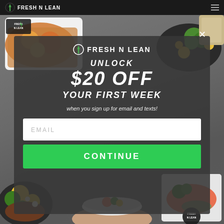FRESH N LEAN
[Figure (photo): Fresh N Lean promotional popup modal over food background. Shows meals in containers and bowls with vegetables, grains, and proteins in corners. Dark stone texture center background.]
FRESH N LEAN
UNLOCK $20 OFF YOUR FIRST WEEK
when you sign up for email and texts!
EMAIL
CONTINUE